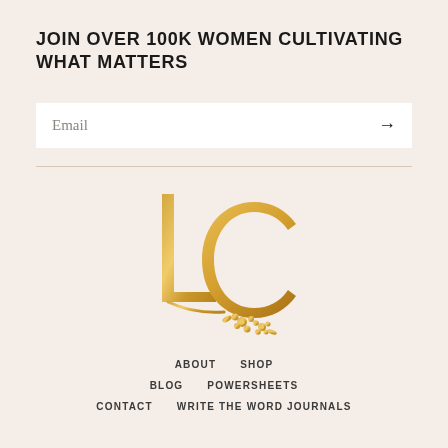JOIN OVER 100K WOMEN CULTIVATING WHAT MATTERS
Email
[Figure (logo): Elegant gold 'LC' monogram logo with decorative floral element — stylized letters L and C in gold with small flowers at the base]
ABOUT   SHOP
BLOG   POWERSHEETS
CONTACT   WRITE THE WORD JOURNALS